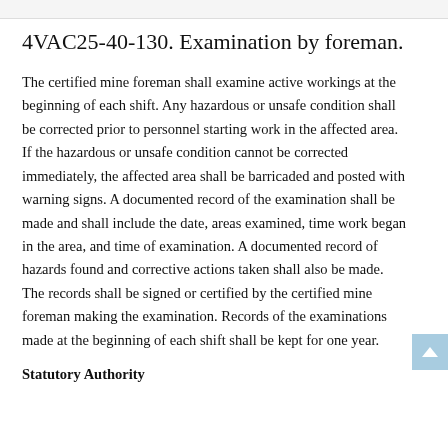4VAC25-40-130. Examination by foreman.
The certified mine foreman shall examine active workings at the beginning of each shift. Any hazardous or unsafe condition shall be corrected prior to personnel starting work in the affected area. If the hazardous or unsafe condition cannot be corrected immediately, the affected area shall be barricaded and posted with warning signs. A documented record of the examination shall be made and shall include the date, areas examined, time work began in the area, and time of examination. A documented record of hazards found and corrective actions taken shall also be made. The records shall be signed or certified by the certified mine foreman making the examination. Records of the examinations made at the beginning of each shift shall be kept for one year.
Statutory Authority